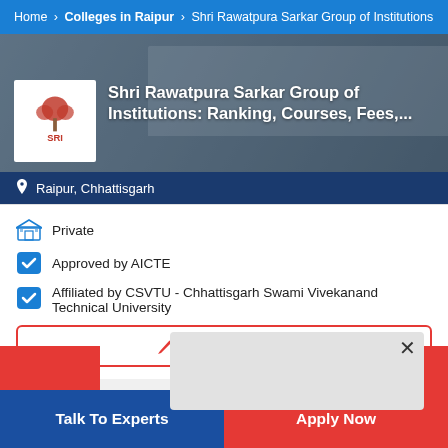Home > Colleges in Raipur > Shri Rawatpura Sarkar Group of Institutions
Shri Rawatpura Sarkar Group of Institutions: Ranking, Courses, Fees,...
Raipur, Chhattisgarh
Private
Approved by AICTE
Affiliated by CSVTU - Chhattisgarh Swami Vivekanand Technical University
Write a Review
Talk To Experts
Apply Now